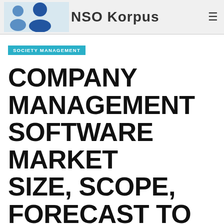NSO Korpus
SOCIETY MANAGEMENT
COMPANY MANAGEMENT SOFTWARE MARKET SIZE, SCOPE, FORECAST TO 2029
MARIE T. ALLEN  JANUARY 6, 2022